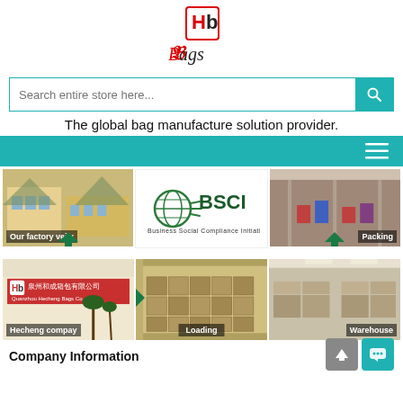[Figure (logo): HB Bags logo in red and dark colors]
[Figure (screenshot): Search bar with teal search button and placeholder text 'Search entire store here...']
The global bag manufacture solution provider.
[Figure (screenshot): Teal navigation bar with hamburger menu icon on right]
[Figure (photo): Our factory veiw - exterior photo of factory building]
[Figure (logo): BSCI - Business Social Compliance Initiative logo]
[Figure (photo): Packing - workers packing bags in factory]
[Figure (photo): Hecheng compay - company sign 泉州和成箱包有限公司 Quanzhou Hecheng Bags Co., Ltd.]
[Figure (photo): Loading - boxes loaded in shipping container]
[Figure (photo): Warehouse - warehouse with stacked boxes]
Company Information